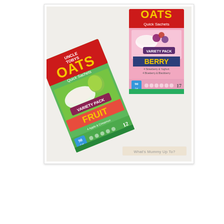[Figure (photo): Photograph of two Uncle Tobys Oats Quick Sachets Variety Pack boxes on a light grey surface. The front box is the Fruit variety with green packaging, tilted at an angle. Behind it is the Berry variety with pink packaging, upright. A small watermark reading 'What's Mummy Up To?' appears in the bottom right of the photo.]